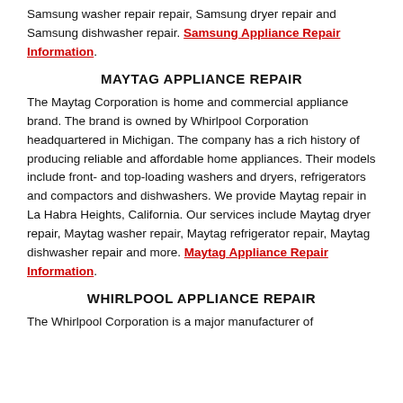Samsung washer repair repair, Samsung dryer repair and Samsung dishwasher repair. Samsung Appliance Repair Information.
MAYTAG APPLIANCE REPAIR
The Maytag Corporation is home and commercial appliance brand. The brand is owned by Whirlpool Corporation headquartered in Michigan. The company has a rich history of producing reliable and affordable home appliances. Their models include front- and top-loading washers and dryers, refrigerators and compactors and dishwashers. We provide Maytag repair in La Habra Heights, California. Our services include Maytag dryer repair, Maytag washer repair, Maytag refrigerator repair, Maytag dishwasher repair and more. Maytag Appliance Repair Information.
WHIRLPOOL APPLIANCE REPAIR
The Whirlpool Corporation is a major manufacturer of